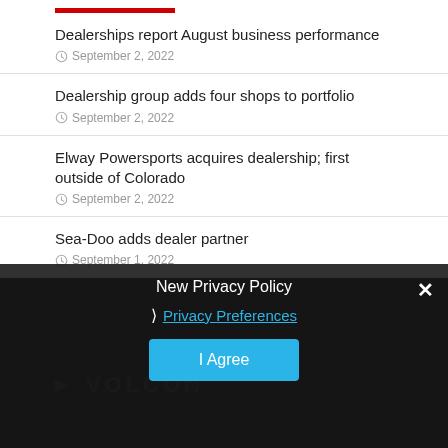Dealerships report August business performance — September 2, 2022
Dealership group adds four shops to portfolio — September 2, 2022
Elway Powersports acquires dealership; first outside of Colorado — September 2, 2022
Sea-Doo adds dealer partner — September 1, 2022
Rider Magazine reviews the 2023 CFMOTO 800 ADVentura — September 1, 2022
New Privacy Policy
Privacy Preferences
I Agree